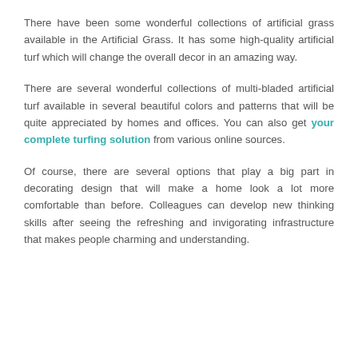There have been some wonderful collections of artificial grass available in the Artificial Grass. It has some high-quality artificial turf which will change the overall decor in an amazing way.
There are several wonderful collections of multi-bladed artificial turf available in several beautiful colors and patterns that will be quite appreciated by homes and offices. You can also get your complete turfing solution from various online sources.
Of course, there are several options that play a big part in decorating design that will make a home look a lot more comfortable than before. Colleagues can develop new thinking skills after seeing the refreshing and invigorating infrastructure that makes people charming and understanding.